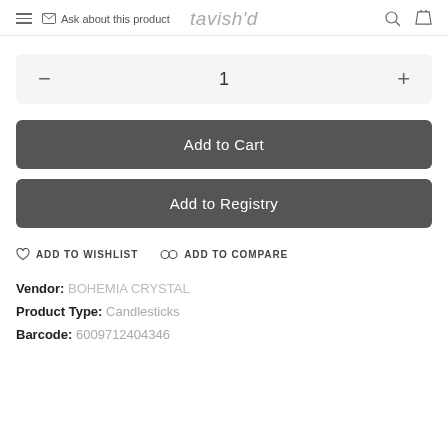Ask about this product | tavish'd
1
Add to Cart
Add to Registry
ADD TO WISHLIST   ADD TO COMPARE
Vendor: BOHEMIA CRYSTAL
Product Type: Candlesticks
Barcode: 6009712404346